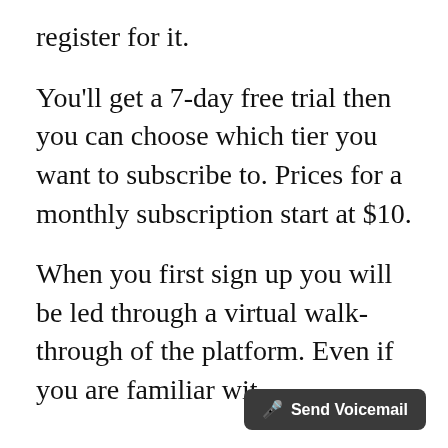register for it.
You'll get a 7-day free trial then you can choose which tier you want to subscribe to. Prices for a monthly subscription start at $10.
When you first sign up you will be led through a virtual walk-through of the platform. Even if you are familiar wit
[Figure (screenshot): Dark rounded button overlay at bottom-right reading 'Send Voicemail' with a microphone icon]